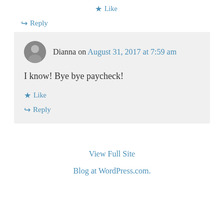★ Like
↪ Reply
Dianna on August 31, 2017 at 7:59 am
I know! Bye bye paycheck!
★ Like
↪ Reply
View Full Site
Blog at WordPress.com.